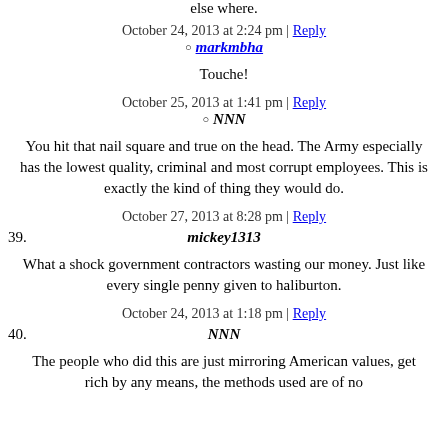else where.
October 24, 2013 at 2:24 pm | Reply
markmbha
Touche!
October 25, 2013 at 1:41 pm | Reply
NNN
You hit that nail square and true on the head. The Army especially has the lowest quality, criminal and most corrupt employees. This is exactly the kind of thing they would do.
October 27, 2013 at 8:28 pm | Reply
39. mickey1313
What a shock government contractors wasting our money. Just like every single penny given to haliburton.
October 24, 2013 at 1:18 pm | Reply
40. NNN
The people who did this are just mirroring American values, get rich by any means, the methods used are of no